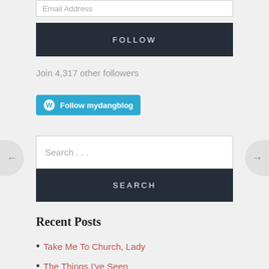Email Address
FOLLOW
Join 4,317 other followers
[Figure (other): WordPress Follow button with WordPress logo icon and text 'Follow mydangblog']
Search . . .
SEARCH
Recent Posts
Take Me To Church, Lady
The Things I've Seen